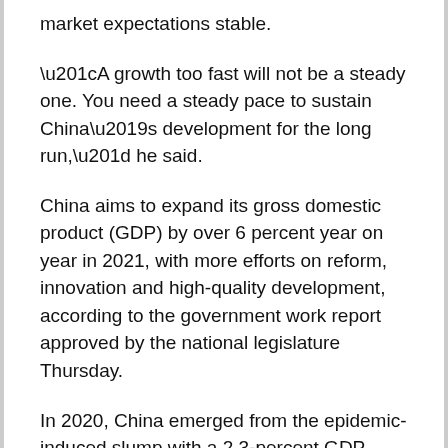market expectations stable.
“A growth too fast will not be a steady one. You need a steady pace to sustain China’s development for the long run,” he said.
China aims to expand its gross domestic product (GDP) by over 6 percent year on year in 2021, with more efforts on reform, innovation and high-quality development, according to the government work report approved by the national legislature Thursday.
In 2020, China emerged from the epidemic-induced slump with a 2.3-percent GDP growth, making it the world’s only major economy to attain positive growth. Enditem